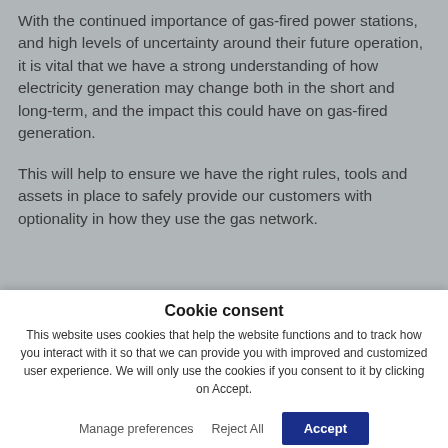With the continued importance of gas-fired power stations, and high levels of uncertainty around their future operation, it is vital that we have a strong understanding of how electricity generation may change both in the short and long-term, and the impact this could have on gas-fired generation.

This will help to ensure we have the right rules, tools and assets in place to safely provide our customers with optionality in how they use the gas network.
Cookie consent
This website uses cookies that help the website functions and to track how you interact with it so that we can provide you with improved and customized user experience. We will only use the cookies if you consent to it by clicking on Accept.